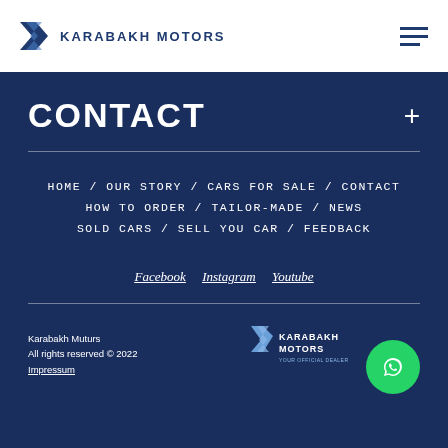Karabakh Motors
CONTACT
HOME / OUR STORY / CARS FOR SALE / CONTACT
HOW TO ORDER / TAILOR-MADE / NEWS
SOLD CARS / SELL YOU CAR / FEEDBACK
Facebook  Instagram  Youtube
Karabakh Muturs
All rights reserved © 2022
Impressum